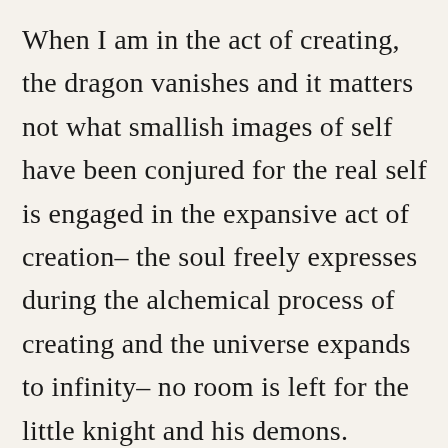When I am in the act of creating, the dragon vanishes and it matters not what smallish images of self have been conjured for the real self is engaged in the expansive act of creation– the soul freely expresses during the alchemical process of creating and the universe expands to infinity– no room is left for the little knight and his demons.

So what the hell am I talking about?